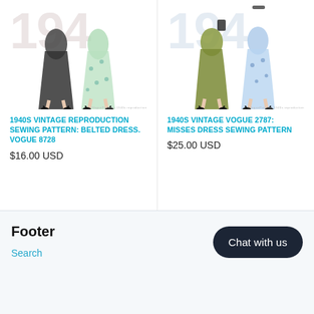[Figure (illustration): Fashion illustration showing two women in 1940s style dresses (one dark/black pleated skirt, one floral print), with '1940' watermark text in background. Product card for Vogue 8728.]
1940S VINTAGE REPRODUCTION SEWING PATTERN: BELTED DRESS. VOGUE 8728
$16.00 USD
[Figure (illustration): Fashion illustration showing two women in 1940s style dresses (one olive/khaki, one floral print), with '1940' watermark text in background. Product card for Vogue 2787.]
1940S VINTAGE VOGUE 2787: MISSES DRESS SEWING PATTERN
$25.00 USD
Footer
Search